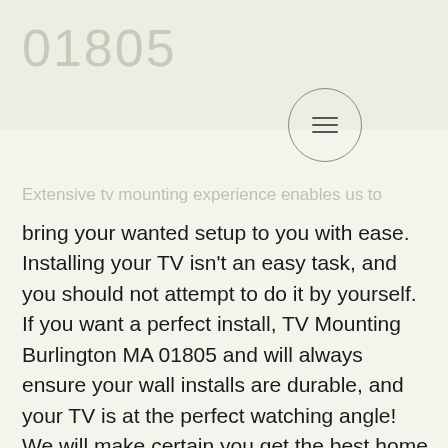01805
Extensive tv mounting experience enables us to
bring your wanted setup to you with ease. Installing your TV isn't an easy task, and you should not attempt to do it by yourself. If you want a perfect install, TV Mounting Burlington MA 01805 and will always ensure your wall installs are durable, and your TV is at the perfect watching angle! We will make certain you get the best home entertainment space to flaunt to all of your family and friends. Set up a time and date, and we will be there in a blink of an eye! Every setup is different, and each style requires more care than others. Still, TV Mounting Burlington MA 01805 can provide the ideal TV Wall Mounting